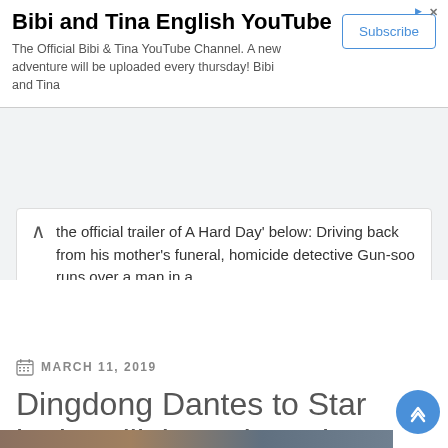[Figure (screenshot): YouTube advertisement banner for 'Bibi and Tina English YouTube' channel with Subscribe button, close and ad-label icons]
the official trailer of A Hard Day' below: Driving back from his mother's funeral, homicide detective Gun-soo runs over a man in a ...
Continue reading »
MARCH 11, 2019
Dingdong Dantes to Star in the Filipino Adaptation of Korean Movie 'A Hard Day'